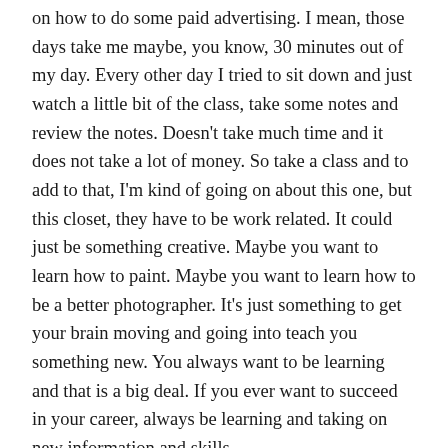on how to do some paid advertising. I mean, those days take me maybe, you know, 30 minutes out of my day. Every other day I tried to sit down and just watch a little bit of the class, take some notes and review the notes. Doesn't take much time and it does not take a lot of money. So take a class and to add to that, I'm kind of going on about this one, but this closet, they have to be work related. It could just be something creative. Maybe you want to learn how to paint. Maybe you want to learn how to be a better photographer. It's just something to get your brain moving and going into teach you something new. You always want to be learning and that is a big deal. If you ever want to succeed in your career, always be learning and taking on new information and skills.
7. update your resume. Nothing is fun about updating your resume in my opinion. I don't, it's just a lot. I'm even gonna lie to you. I don't care. I don't really like updating my resume. But if you are a writer, you love it, you just love to edit. Go and do that right now. We can go years and I'm a guilty